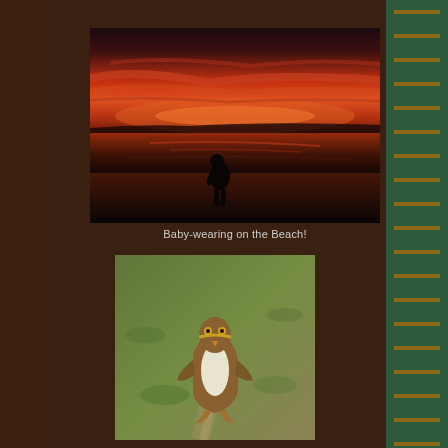[Figure (photo): Dramatic red and orange sunset over a beach with a silhouette of a person standing on the wet sand, reflections visible on the beach surface]
Baby-wearing on the Beach!
[Figure (photo): A yellow-eyed penguin (hoiho) walking away on a grassy hillside, viewed from behind, showing its white and brown plumage]